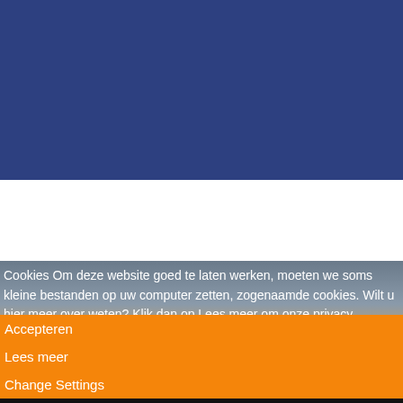[Figure (screenshot): Top dark blue navigation/header bar of a Dutch sports website]
f  (RSS icon)
Ontworpen door Challenge Accepted! | Privacy Verklaring
[Figure (photo): Ice skating rink with athletes in blue suits, orange advertising banners reading TeamNL and schootsen.nl]
Cookies Om deze website goed te laten werken, moeten we soms kleine bestanden op uw computer zetten, zogenaamde cookies. Wilt u hier meer over weten? Klik dan op Lees meer om onze privacy verklaring te lezen.
Accepteren
Lees meer
Change Settings
Cookie Box-instellingen
Cookie Box-instellingen
Privacy settings